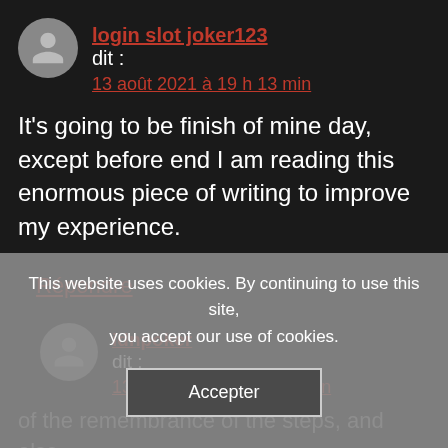login slot joker123 dit : 13 août 2021 à 19 h 13 min
It's going to be finish of mine day, except before end I am reading this enormous piece of writing to improve my experience.
Répondre
idnpoker dit : 13 août 2021 à 19 h 28 min
This website uses cookies. By continuing to use this site, you accept our use of cookies.
Accepter